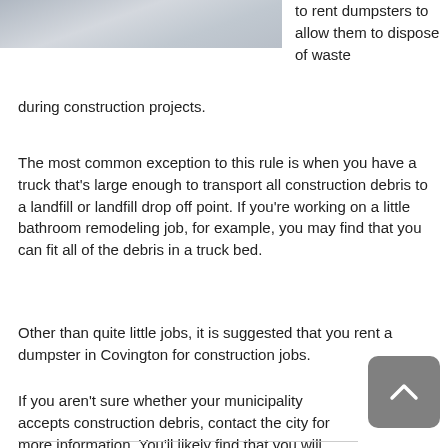[Figure (photo): Aerial or ground-level photo of a construction/debris area, partially cropped at top]
to rent dumpsters to allow them to dispose of waste during construction projects.
The most common exception to this rule is when you have a truck that's large enough to transport all construction debris to a landfill or landfill drop off point. If you're working on a little bathroom remodeling job, for example, you may find that you can fit all of the debris in a truck bed.
Other than quite little jobs, it is suggested that you rent a dumpster in Covington for construction jobs.
If you aren't sure whether your municipality accepts construction debris, contact the city for more information. You'll likely find that you will need to rent a dumpster in Covington. Setting debris outside for garbage removal could potentially result in fines.